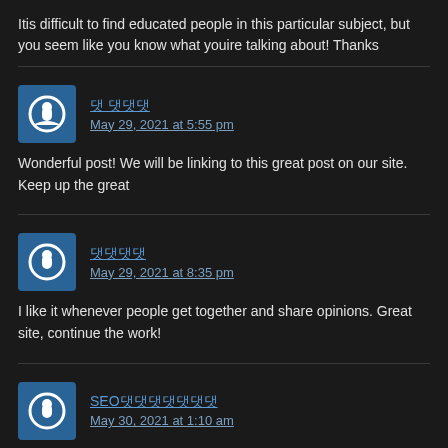Itis difficult to find educated people in this particular subject, but you seem like you know what youire talking about! Thanks
댓 댓댓댓
May 29, 2021 at 5:55 pm
Wonderful post! We will be linking to this great post on our site. Keep up the great
댓댓댓댓
May 29, 2021 at 8:35 pm
I like it whenever people get together and share opinions. Great site, continue the work!
SEO댓댓댓댓댓댓댓
May 30, 2021 at 1:10 am
I am really impressed with your writing skills and also with the layout on your webl a paid theme or did you modify it yourself? Anyway keep up the excellent quality w rare to see a great blog like this one nowadays..